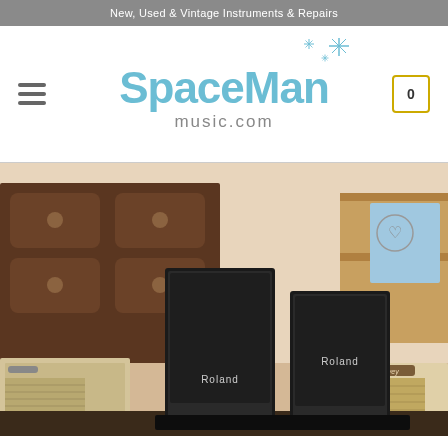New, Used & Vintage Instruments & Repairs
[Figure (logo): SpaceMan music.com logo with decorative stars in light blue/teal color, hamburger menu icon on left, cart icon showing 0 on right]
[Figure (photo): Photo of two Roland brand speakers (black, bookshelf style) sitting in front of various vintage music equipment including what appears to be guitar amplifiers and a wood cabinet/dresser in a music store setting]